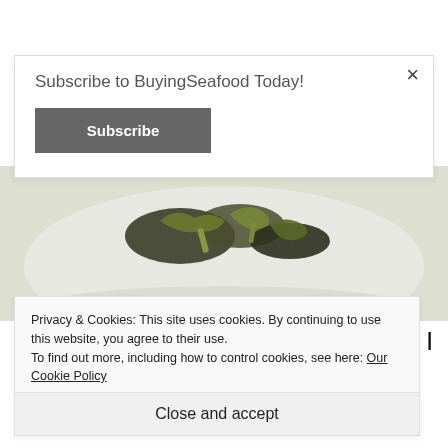[Figure (photo): Food photo showing cooked vegetables/seaweed on a white plate, partially visible as a cropped strip.]
As part of National Seafood Month, I decided to try a local, but new fish to me. I grabbed 2
[Figure (screenshot): Subscribe to BuyingSeafood Today! modal overlay with a Subscribe button and close (×) button.]
Subscribe to BuyingSeafood Today!
Subscribe
Privacy & Cookies: This site uses cookies. By continuing to use this website, you agree to their use.
To find out more, including how to control cookies, see here: Our Cookie Policy
Close and accept